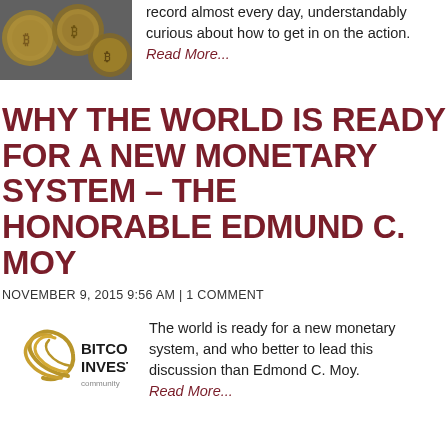[Figure (photo): Close-up photo of gold Bitcoin coins]
record almost every day, understandably curious about how to get in on the action.
Read More...
WHY THE WORLD IS READY FOR A NEW MONETARY SYSTEM – THE HONORABLE EDMUND C. MOY
NOVEMBER 9, 2015 9:56 AM | 1 COMMENT
[Figure (logo): Bitcoin Investor logo with golden swirl graphic and bold text]
The world is ready for a new monetary system, and who better to lead this discussion than Edmond C. Moy.
Read More...